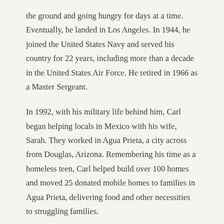the ground and going hungry for days at a time. Eventually, he landed in Los Angeles. In 1944, he joined the United States Navy and served his country for 22 years, including more than a decade in the United States Air Force. He retired in 1966 as a Master Sergeant.
In 1992, with his military life behind him, Carl began helping locals in Mexico with his wife, Sarah. They worked in Agua Prieta, a city across from Douglas, Arizona. Remembering his time as a homeless teen, Carl helped build over 100 homes and moved 25 donated mobile homes to families in Agua Prieta, delivering food and other necessities to struggling families.
Haupt is a first time author at 93 years old. His novel, "Gary Gatlin: Reluctant Hero" (Dudley Court Press, November 5,